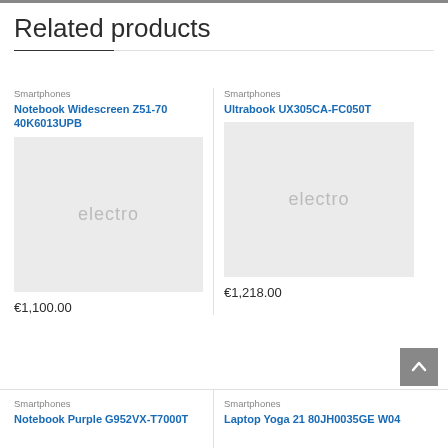Related products
Smartphones
Notebook Widescreen Z51-70 40K6013UPB
[Figure (photo): Product placeholder image with text 'electro']
€1,100.00
Smartphones
Ultrabook UX305CA-FC050T
[Figure (photo): Product placeholder image with text 'electro']
€1,218.00
Smartphones
Notebook Purple G952VX-T7000T
Smartphones
Laptop Yoga 21 80JH0035GE W04